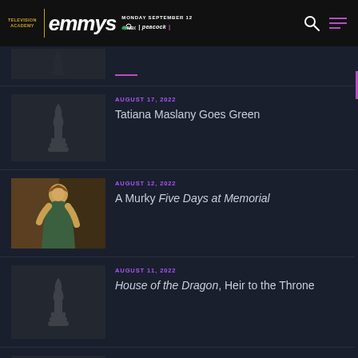Television Academy emmys | MONDAY SEPTEMBER 12 NBC | peacock
AUGUST 17, 2022 — Tatiana Maslany Goes Green
AUGUST 12, 2022 — A Murky Five Days at Memorial
AUGUST 11, 2022 — House of the Dragon, Heir to the Throne
AUGUST 11, 2022 — 25 Years of South Park
AUGUST 9, 2022